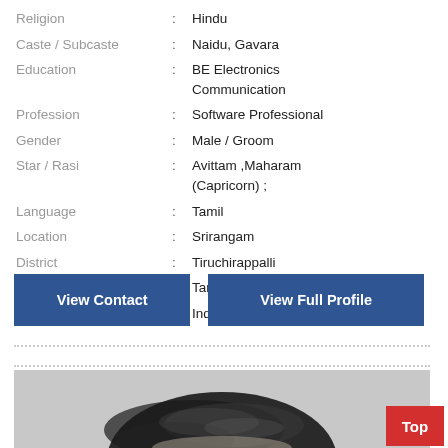| Religion | : | Hindu |
| Caste / Subcaste | : | Naidu, Gavara |
| Education | : | BE Electronics Communication |
| Profession | : | Software Professional |
| Gender | : | Male / Groom |
| Star / Rasi | : | Avittam ,Maharam (Capricorn) ; |
| Language | : | Tamil |
| Location | : | Srirangam |
| District | : | Tiruchirappalli |
| State | : | Tamil Nadu |
| Country | : | India |
View Contact
View Full Profile
[Figure (photo): Black and white photo of a person's head/hair, partially visible at bottom of page]
Top